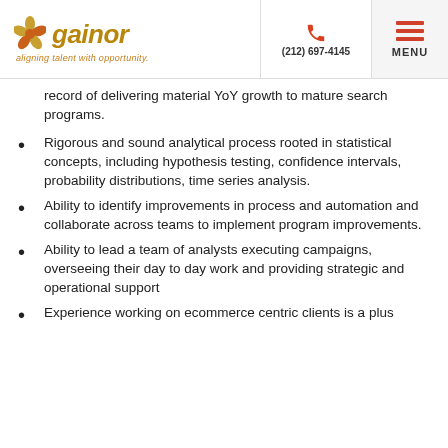gainor aligning talent with opportunity. (212) 697-4145 MENU
record of delivering material YoY growth to mature search programs.
Rigorous and sound analytical process rooted in statistical concepts, including hypothesis testing, confidence intervals, probability distributions, time series analysis.
Ability to identify improvements in process and automation and collaborate across teams to implement program improvements.
Ability to lead a team of analysts executing campaigns, overseeing their day to day work and providing strategic and operational support
Experience working on ecommerce centric clients is a plus